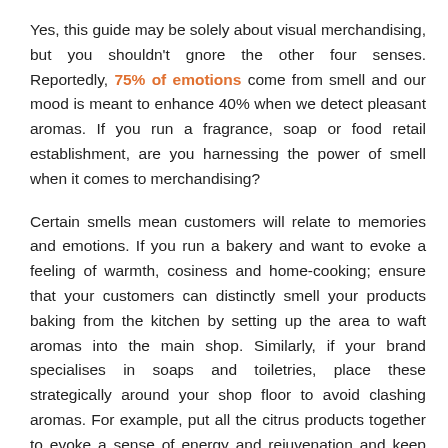Yes, this guide may be solely about visual merchandising, but you shouldn't gnore the other four senses. Reportedly, 75% of emotions come from smell and our mood is meant to enhance 40% when we detect pleasant aromas. If you run a fragrance, soap or food retail establishment, are you harnessing the power of smell when it comes to merchandising?
Certain smells mean customers will relate to memories and emotions. If you run a bakery and want to evoke a feeling of warmth, cosiness and home-cooking; ensure that your customers can distinctly smell your products baking from the kitchen by setting up the area to waft aromas into the main shop. Similarly, if your brand specialises in soaps and toiletries, place these strategically around your shop floor to avoid clashing aromas. For example, put all the citrus products together to evoke a sense of energy and rejuvenation and keep these far away from lavender and camomile scents, which are more relaxing.